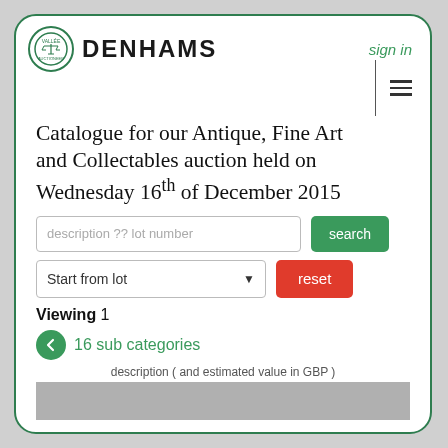[Figure (logo): Denhams auctioneer logo with scales of justice icon and DENHAMS text]
Catalogue for our Antique, Fine Art and Collectables auction held on Wednesday 16th of December 2015
description ?? lot number
Start from lot
Viewing 1
16 sub categories
description ( and estimated value in GBP )